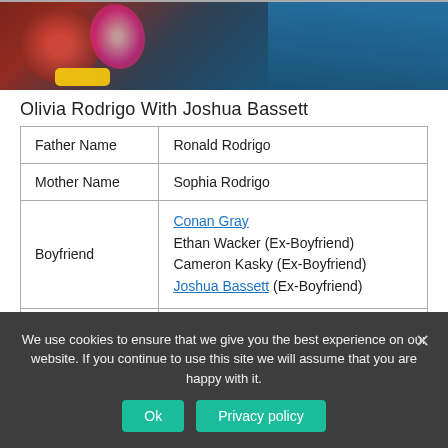[Figure (photo): Photo of Olivia Rodrigo with Joshua Bassett, cropped at top, showing colorful clothing and accessories]
Olivia Rodrigo With Joshua Bassett
| Father Name | Ronald Rodrigo |
| Mother Name | Sophia Rodrigo |
| Boyfriend | Conan Gray
Ethan Wacker (Ex-Boyfriend)
Cameron Kasky (Ex-Boyfriend)
Joshua Bassett (Ex-Boyfriend) |
We use cookies to ensure that we give you the best experience on our website. If you continue to use this site we will assume that you are happy with it.